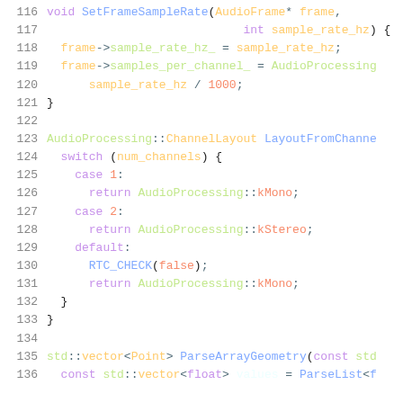Source code snippet lines 116-136 showing C++ audio processing functions: SetFrameSampleRate, LayoutFromChannels (switch/case), and ParseArrayGeometry